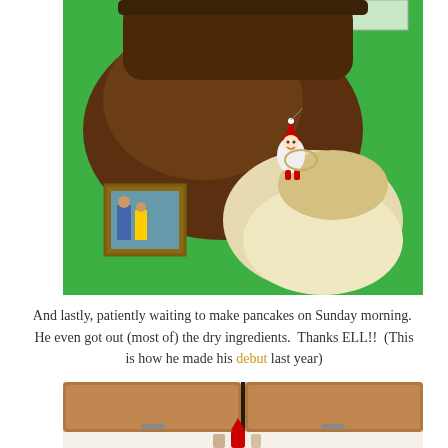[Figure (photo): A taxidermied mountain goat head mounted on a green wall, with an Elf on the Shelf doll placed on top of the mount. A framed family photograph hangs on the green wall to the lower left.]
And lastly, patiently waiting to make pancakes on Sunday morning.  He even got out (most of) the dry ingredients.  Thanks ELL!!  (This is how he made his debut last year)
[Figure (photo): Kitchen scene showing wood cabinet doors and what appears to be an Elf on the Shelf doll near cooking ingredients on the counter below.]